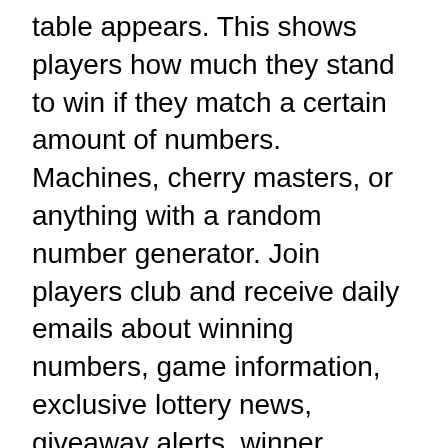table appears. This shows players how much they stand to win if they match a certain amount of numbers. Machines, cherry masters, or anything with a random number generator. Join players club and receive daily emails about winning numbers, game information, exclusive lottery news, giveaway alerts, winner announcements, and more! We Find You the Biggest Welcome Bonuses, lottery game numbers slot machine.
LV Review & Bonus Codes, su supernova casino no deposit coupon codes. LV Bonus Bonus Code Details Terms 1st Deposit Bonus HELLOSLOTS200 200% first deposit match for up to $1,000 bonus 35x Next 8 Deposit Bonuses HELLOSLOTS100 100% deposit match for up to $500 bonus 35x. LV Review & Bonus.
From powerball, to mega millions, to keno, to megabucks, to scratch games: at the new hampshire lottery, your favorite lottery games are just a click away. Real combinations in...